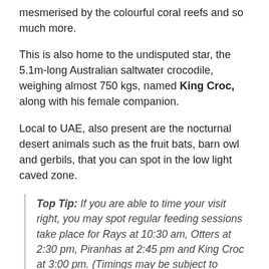mesmerised by the colourful coral reefs and so much more.
This is also home to the undisputed star, the 5.1m-long Australian saltwater crocodile, weighing almost 750 kgs, named King Croc, along with his female companion.
Local to UAE, also present are the nocturnal desert animals such as the fruit bats, barn owl and gerbils, that you can spot in the low light caved zone.
Top Tip: If you are able to time your visit right, you may spot regular feeding sessions take place for Rays at 10:30 am, Otters at 2:30 pm, Piranhas at 2:45 pm and King Croc at 3:00 pm. (Timings may be subject to change)
Top Experiences at Dubai Aquarium and Underwater Zoo: